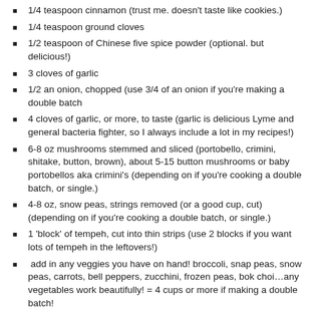1/4 teaspoon cinnamon (trust me. doesn't taste like cookies.)
1/4 teaspoon ground cloves
1/2 teaspoon of Chinese five spice powder (optional. but delicious!)
3 cloves of garlic
1/2 an onion, chopped (use 3/4 of an onion if you're making a double batch
4 cloves of garlic, or more, to taste (garlic is delicious Lyme and general bacteria fighter, so I always include a lot in my recipes!)
6-8 oz mushrooms stemmed and sliced (portobello, crimini, shitake, button, brown), about 5-15 button mushrooms or baby portobellos aka crimini's (depending on if you're cooking a double batch, or single.)
4-8 oz, snow peas, strings removed (or a good cup, cut) (depending on if you're cooking a double batch, or single.)
1 'block' of tempeh, cut into thin strips (use 2 blocks if you want lots of tempeh in the leftovers!)
add in any veggies you have on hand! broccoli, snap peas, snow peas, carrots, bell peppers, zucchini, frozen peas, bok choi…any vegetables work beautifully! = 4 cups or more if making a double batch!
2-4 cups cooked brown rice/quinoa/etc (depending how much grain you want! and whether you're making a double batch, or